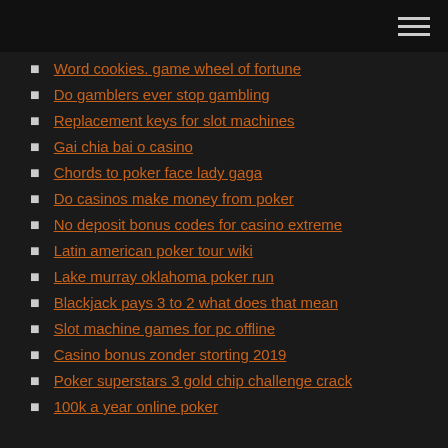Word cookies. game wheel of fortune
Do gamblers ever stop gambling
Replacement keys for slot machines
Gai chia bai o casino
Chords to poker face lady gaga
Do casinos make money from poker
No deposit bonus codes for casino extreme
Latin american poker tour wiki
Lake murray oklahoma poker run
Blackjack pays 3 to 2 what does that mean
Slot machine games for pc offline
Casino bonus zonder storting 2019
Poker superstars 3 gold chip challenge crack
100k a year online poker